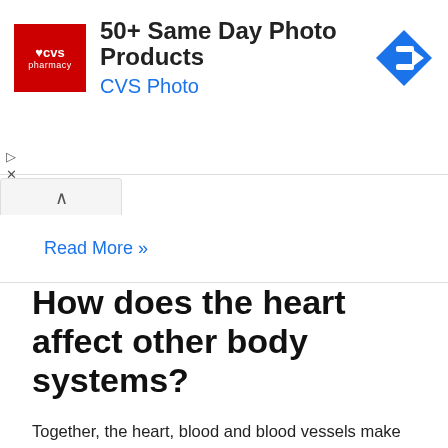[Figure (other): CVS Pharmacy advertisement banner showing CVS logo, text '50+ Same Day Photo Products' and 'CVS Photo', with a blue navigation arrow icon]
Read More »
How does the heart affect other body systems?
Together, the heart, blood and blood vessels make up a system called “the cardiovascular system.” Think of it as a delivery system. The delivery system moves blood from the heart carrying oxygen and nutrients throughout your body and also picks up waste products so that your body can get rid of them. How can heart …